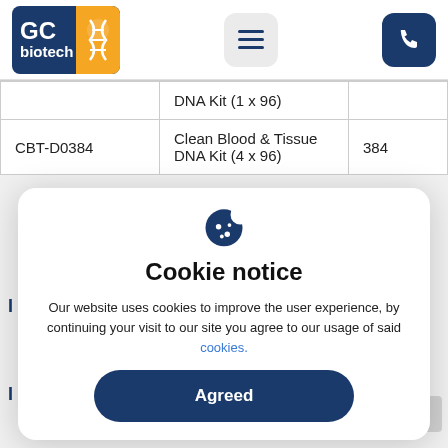[Figure (logo): GC Biotech logo with blue background and orange DNA helix icon]
|  |  |  |
| --- | --- | --- |
|  | DNA Kit (1 x 96) |  |
| CBT-D0384 | Clean Blood & Tissue DNA Kit (4 x 96) | 384 |
[Figure (infographic): Cookie notice modal dialog with cookie icon, title 'Cookie notice', descriptive text about cookies, and an 'Agreed' button]